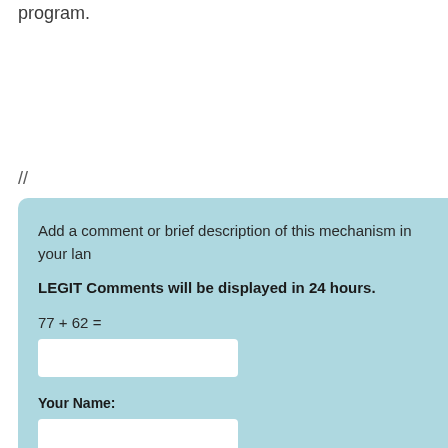program.
//
Add a comment or brief description of this mechanism in your lan
LEGIT Comments will be displayed in 24 hours.
Your Name: